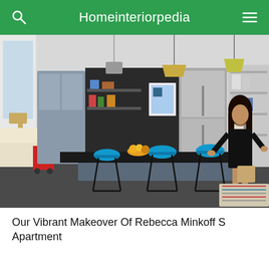Homeinteriorpedia
[Figure (photo): Interior kitchen photo showing a woman in a black dress standing at a kitchen island with bright blue bar stools, gray cabinetry, stainless steel refrigerator, pendant lights, and open shelving with dishware.]
Our Vibrant Makeover Of Rebecca Minkoff S Apartment